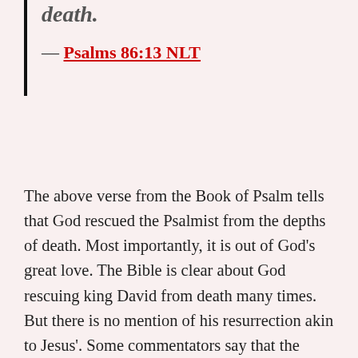death.
— Psalms 86:13 NLT
The above verse from the Book of Psalm tells that God rescued the Psalmist from the depths of death. Most importantly, it is out of God's great love. The Bible is clear about God rescuing king David from death many times. But there is no mention of his resurrection akin to Jesus'. Some commentators say that the reference is made to Jesus in the subject verse. Certainly, we know How the Almighty God resurrected Jesus from the dead on the third day. And another person who believed like David in the resurrection power of the Almighty God is Abraham. For the scripture